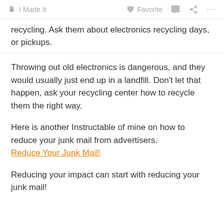I Made It   Favorite   ...
recycling. Ask them about electronics recycling days, or pickups.
Throwing out old electronics is dangerous, and they would usually just end up in a landfill. Don't let that happen, ask your recycling center how to recycle them the right way.
Here is another Instructable of mine on how to reduce your junk mail from advertisers.
Reduce Your Junk Mail!
Reducing your impact can start with reducing your junk mail!